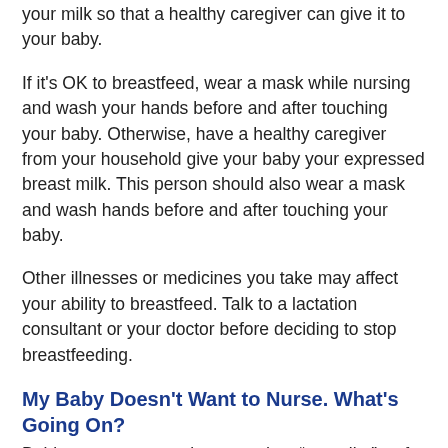your milk so that a healthy caregiver can give it to your baby.
If it's OK to breastfeed, wear a mask while nursing and wash your hands before and after touching your baby. Otherwise, have a healthy caregiver from your household give your baby your expressed breast milk. This person should also wear a mask and wash hands before and after touching your baby.
Other illnesses or medicines you take may affect your ability to breastfeed. Talk to a lactation consultant or your doctor before deciding to stop breastfeeding.
My Baby Doesn't Want to Nurse. What's Going On?
Babies may stop nursing — and go “on strike” — for many reasons. Something might be making your baby